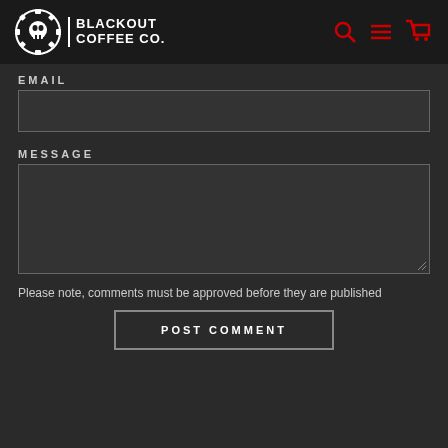BLACKOUT COFFEE CO.
EMAIL
MESSAGE
Please note, comments must be approved before they are published
POST COMMENT